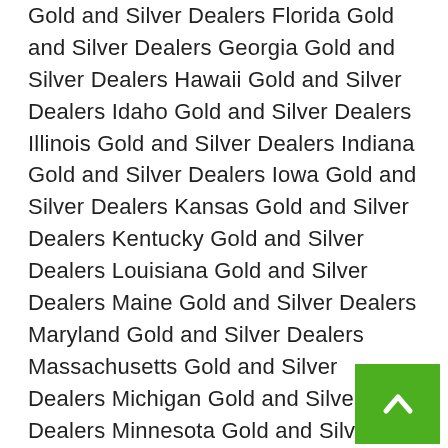Gold and Silver Dealers Florida Gold and Silver Dealers Georgia Gold and Silver Dealers Hawaii Gold and Silver Dealers Idaho Gold and Silver Dealers Illinois Gold and Silver Dealers Indiana Gold and Silver Dealers Iowa Gold and Silver Dealers Kansas Gold and Silver Dealers Kentucky Gold and Silver Dealers Louisiana Gold and Silver Dealers Maine Gold and Silver Dealers Maryland Gold and Silver Dealers Massachusetts Gold and Silver Dealers Michigan Gold and Silver Dealers Minnesota Gold and Silver Dealers Mississippi Gold and Silver Dealers Missouri Gold and Silver Dealers Montana Gold and Silver Dealers Nebraska Gold and Silver Dealers Nevada Gold and Silver Dealers New Hampshire Gold and Silver Dealers New Jersey Gold and Silver Dealers New Mexico Gold and Silver Dealers New York Gold Silver Dealers North Carolina Gold and Silver Dealers North Dakota Gold and Silver Dealers Ohio